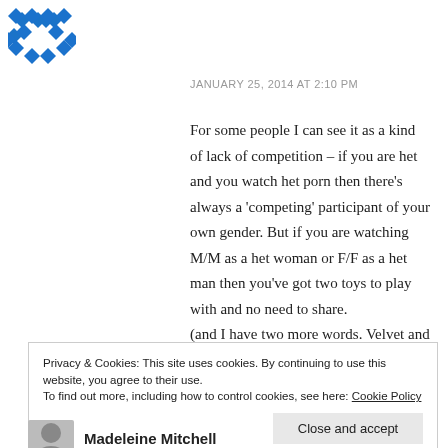[Figure (logo): Blue snowflake/cross pattern logo]
JANUARY 25, 2014 AT 2:10 PM
For some people I can see it as a kind of lack of competition – if you are het and you watch het porn then there's always a 'competing' participant of your own gender. But if you are watching M/M as a het woman or F/F as a het man then you've got two toys to play with and no need to share.
(and I have two more words. Velvet and Goldmine...)
Privacy & Cookies: This site uses cookies. By continuing to use this website, you agree to their use.
To find out more, including how to control cookies, see here: Cookie Policy
Close and accept
Madeleine Mitchell